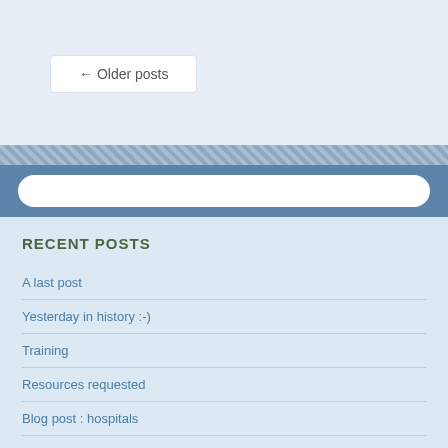← Older posts
RECENT POSTS
A last post
Yesterday in history :-)
Training
Resources requested
Blog post : hospitals
SUPPORT THE THORNE-AUTHOR